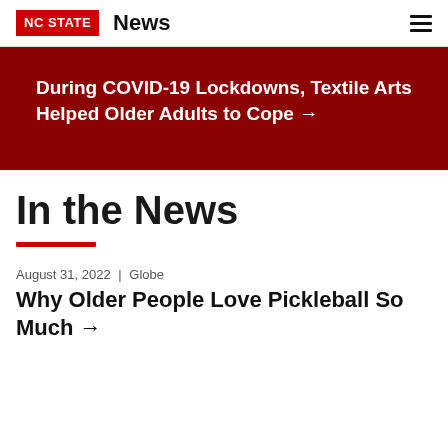NC STATE  News
[Figure (other): Dark red hero banner with white bold text: During COVID-19 Lockdowns, Textile Arts Helped Older Adults to Cope →]
In the News
August 31, 2022 | Globe
Why Older People Love Pickleball So Much →